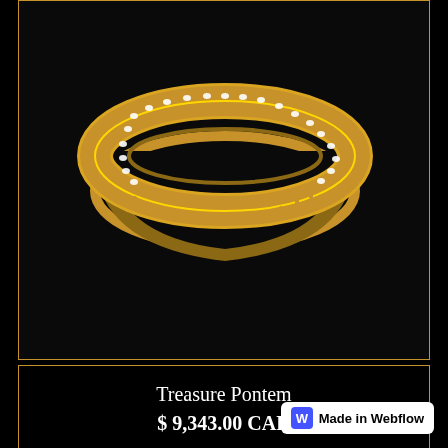[Figure (photo): Gold diamond eternity band ring viewed from an angle against black background, showing the full circle with diamonds all around]
Treasure Pontem
$ 9,343.00 CAD
[Figure (photo): Gold tree-shaped ring with large round diamonds set among branch-like gold prongs, viewed from side against black background]